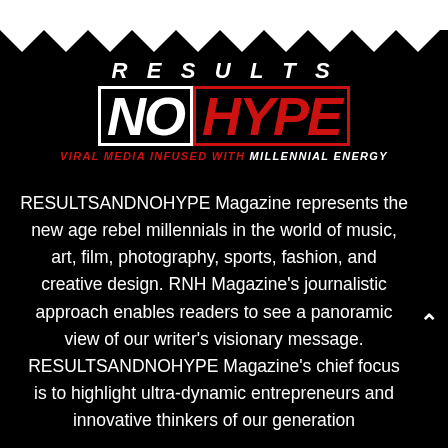[Figure (logo): RESULTS NOHYPE logo — 'RESULTS' in white italic bold uppercase with wide letter-spacing above 'NO' in white bold italic block letters and 'HYPE' in red bold italic block letters. Tagline below: 'VIRAL MEDIA INFUSED WITH MILLENNIAL ENERGY' in red and white italic uppercase text.]
RESULTSANDNOHYPE Magazine represents the new age rebel millennials in the world of music, art, film, photography, sports, fashion, and creative design. RNH Magazine's journalistic approach enables readers to see a panoramic view of our writer's visionary message. RESULTSANDNOHYPE Magazine's chief focus is to highlight ultra-dynamic entrepreneurs and innovative thinkers of our generation